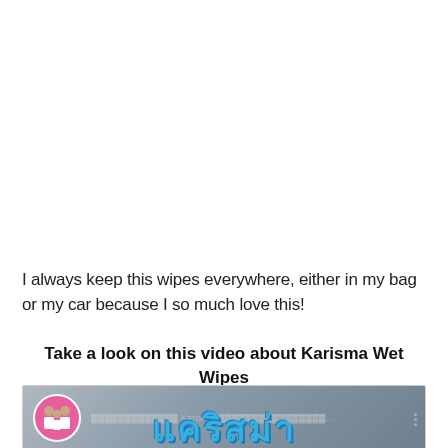I always keep this wipes everywhere, either in my bag or my car because I so much love this!
Take a look on this video about Karisma Wet Wipes
[Figure (screenshot): YouTube video thumbnail showing a Karisma Wet Wipes video. There is a circular pink avatar with a family photo on the left, Thai text channel name followed by 'Karisma' and more Thai text, a three-dot menu icon, and large blue bold Thai/Karisma text at the bottom of the thumbnail on a grey gradient background.]